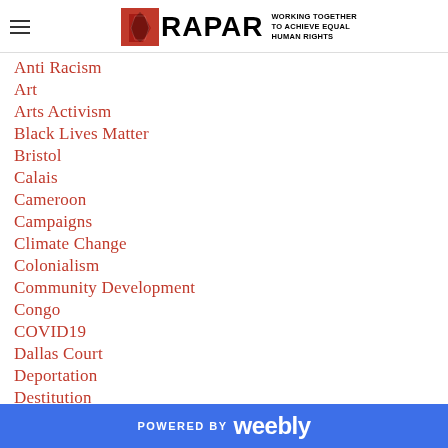RAPAR — Working Together to Achieve Equal Human Rights
Anti Racism
Art
Arts Activism
Black Lives Matter
Bristol
Calais
Cameroon
Campaigns
Climate Change
Colonialism
Community Development
Congo
COVID19
Dallas Court
Deportation
Destitution
POWERED BY weebly